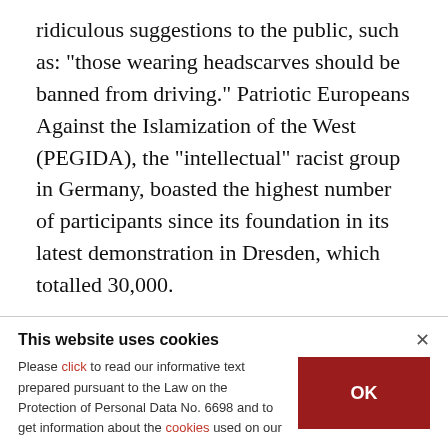ridiculous suggestions to the public, such as: "those wearing headscarves should be banned from driving." Patriotic Europeans Against the Islamization of the West (PEGIDA), the "intellectual" racist group in Germany, boasted the highest number of participants since its foundation in its latest demonstration in Dresden, which totalled 30,000.

While 30,000 people were shouting their racist
This website uses cookies

Please click to read our informative text prepared pursuant to the Law on the Protection of Personal Data No. 6698 and to get information about the cookies used on our